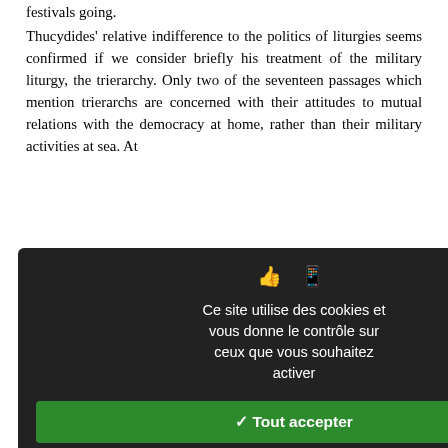festivals going.
Thucydides' relative indifference to the politics of liturgies seems confirmed if we consider briefly his treatment of the military liturgy, the trierarchy. Only two of the seventeen passages which mention trierarchs are concerned with their attitudes to mutual relations with the democracy at home, rather than their military activities at sea. At cohesion between trierarchs between themselves, but it is In this dramatic portrayal of for the Sicilian expedition, d on the vast amounts of en out of the city, without s or apparently worrying that figureheads), rather than on enian groups involved are ssage (see above all Kallet tions, as pointed out by contribution to this excessive ormal contests, paying extra ships' figureheads and other m gold and silver ware, is on (eris): but instead of the
Ce site utilise des cookies et vous donne le contrôle sur ceux que vous souhaitez activer
✓ Tout accepter
✗ Tout refuser
Personnaliser
Politique de confidentialité